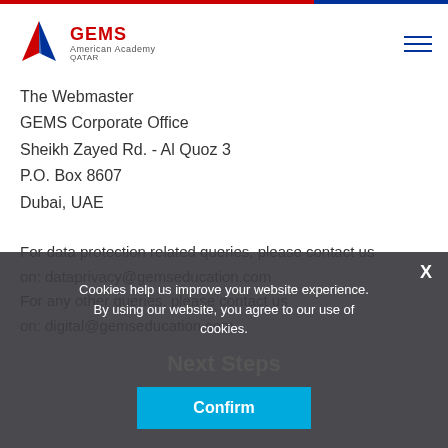[Figure (logo): GEMS American Academy Qatar logo with stylized arrow/wing icon in red and blue, followed by GEMS text in red and 'American Academy' and 'QATAR' in grey]
The Webmaster
GEMS Corporate Office
Sheikh Zayed Rd. - Al Quoz 3
P.O. Box 8607
Dubai, UAE
For data protection related queries, please contact us on: dataprivacy@gemseducation.com
For any other queries, please contact us on: digital@gemseducation.com
Cookies help us improve your website experience. By using our website, you agree to our use of cookies.
Next Steps
Confirm